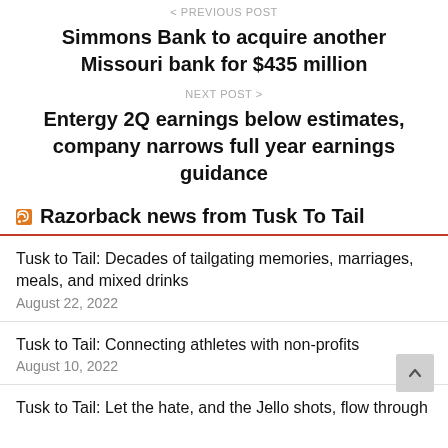< PREVIOUS POST
Simmons Bank to acquire another Missouri bank for $435 million
NEXT POST >
Entergy 2Q earnings below estimates, company narrows full year earnings guidance
Razorback news from Tusk To Tail
Tusk to Tail: Decades of tailgating memories, marriages, meals, and mixed drinks
August 22, 2022
Tusk to Tail: Connecting athletes with non-profits
August 10, 2022
Tusk to Tail: Let the hate, and the Jello shots, flow through